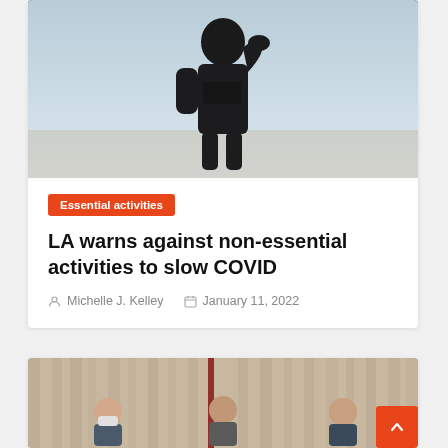[Figure (photo): Silhouette of a person shielding their eyes from the sun against a bright background]
Essential activities
LA warns against non-essential activities to slow COVID
Michelle J. Kelley  January 11, 2022
[Figure (photo): Three officials standing at a press briefing in front of beige curtains with a vertical red and brown divider in the center]